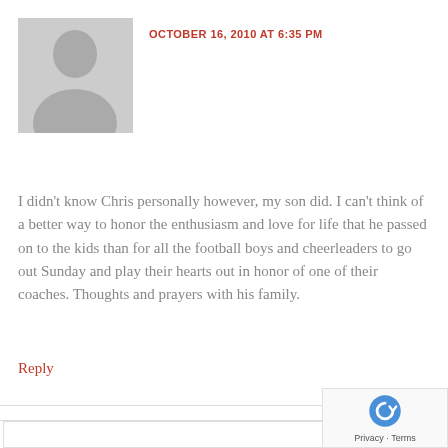[Figure (illustration): Generic grey avatar silhouette of a person, used as default user profile image]
OCTOBER 16, 2010 AT 6:35 PM
I didn't know Chris personally however, my son did. I can't think of a better way to honor the enthusiasm and love for life that he passed on to the kids than for all the football boys and cheerleaders to go out Sunday and play their hearts out in honor of one of their coaches. Thoughts and prayers with his family.
Reply